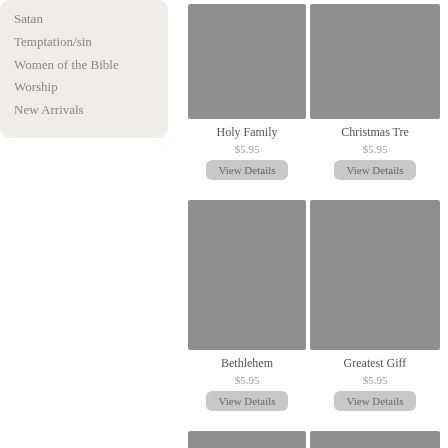Satan
Temptation/sin
Women of the Bible
Worship
New Arrivals
[Figure (photo): Holy Family product image placeholder (gray square)]
Holy Family
$5.95
View Details
[Figure (photo): Christmas Tree product image placeholder (gray square), partially cropped on right]
Christmas Tre...
$5.95
View Details
[Figure (photo): Bethlehem product image placeholder (gray square)]
Bethlehem
$5.95
View Details
[Figure (photo): Greatest Gift product image placeholder (gray square), partially cropped on right]
Greatest Giff...
$5.95
View Details
[Figure (photo): Fifth product image placeholder (gray square), partially cropped at bottom]
[Figure (photo): Sixth product image placeholder (gray square), partially cropped at bottom and right]